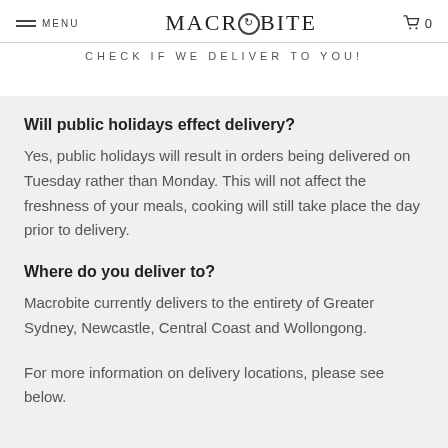MENU | MACROBITE | 0
CHECK IF WE DELIVER TO YOU!
Will public holidays effect delivery?
Yes, public holidays will result in orders being delivered on Tuesday rather than Monday. This will not affect the freshness of your meals, cooking will still take place the day prior to delivery.
Where do you deliver to?
Macrobite currently delivers to the entirety of Greater Sydney, Newcastle, Central Coast and Wollongong.
For more information on delivery locations, please see below.